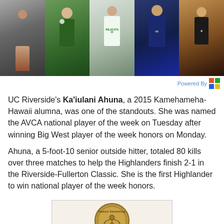[Figure (photo): A horizontal strip of five sports action photos showing athletes in various sports including basketball, volleyball, and other sports.]
Powered By
UC Riverside's Ka'iulani Ahuna, a 2015 Kamehameha-Hawaii alumna, was one of the standouts. She was named the AVCA national player of the week on Tuesday after winning Big West player of the week honors on Monday.
Ahuna, a 5-foot-10 senior outside hitter, totaled 80 kills over three matches to help the Highlanders finish 2-1 in the Riverside-Fullerton Classic. She is the first Highlander to win national player of the week honors.
[Figure (photo): A bronze medal or coin with 'Hawaii Swimming' text and an athlete figure engraved on it, shown in a white-bordered frame.]